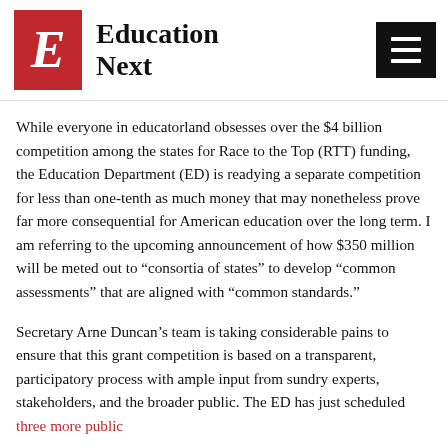Education Next
While everyone in educatorland obsesses over the $4 billion competition among the states for Race to the Top (RTT) funding, the Education Department (ED) is readying a separate competition for less than one-tenth as much money that may nonetheless prove far more consequential for American education over the long term. I am referring to the upcoming announcement of how $350 million will be meted out to “consortia of states” to develop “common assessments” that are aligned with “common standards.”
Secretary Arne Duncan’s team is taking considerable pains to ensure that this grant competition is based on a transparent, participatory process with ample input from sundry experts, stakeholders, and the broader public. The ED has just scheduled three more public